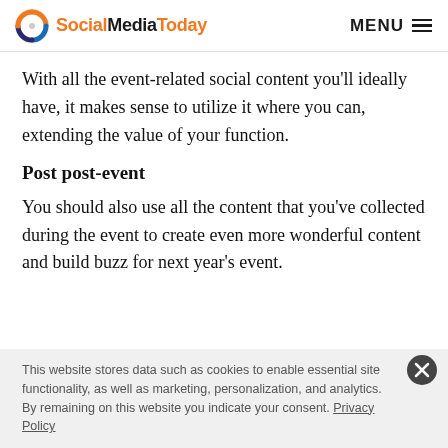SocialMediaToday MENU
With all the event-related social content you'll ideally have, it makes sense to utilize it where you can, extending the value of your function.
Post post-event
You should also use all the content that you've collected during the event to create even more wonderful content and build buzz for next year's event.
This website stores data such as cookies to enable essential site functionality, as well as marketing, personalization, and analytics. By remaining on this website you indicate your consent. Privacy Policy